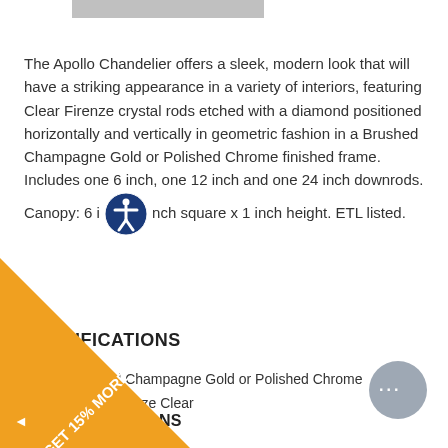[Figure (other): Gray horizontal bar at top of page]
The Apollo Chandelier offers a sleek, modern look that will have a striking appearance in a variety of interiors, featuring Clear Firenze crystal rods etched with a diamond positioned horizontally and vertically in geometric fashion in a Brushed Champagne Gold or Polished Chrome finished frame. Includes one 6 inch, one 12 inch and one 24 inch downrods. Canopy: 6 inch square x 1 inch height. ETL listed.
SPECIFICATIONS
Finish: Brushed Champagne Gold or Polished Chrome
Shade Color: Firenze Clear
DIMENSIONS
26"W x 35"H
[Figure (other): Orange triangle banner in bottom-left corner with text GET 15% MORE and an arrow]
[Figure (other): Gray circular chat button with ellipsis in bottom-right corner]